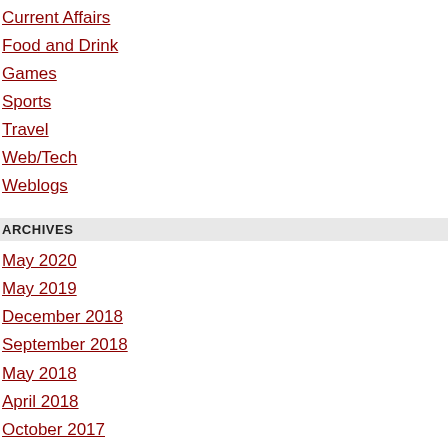Current Affairs
Food and Drink
Games
Sports
Travel
Web/Tech
Weblogs
ARCHIVES
May 2020
May 2019
December 2018
September 2018
May 2018
April 2018
October 2017
August 2017
January 2017
December 2016